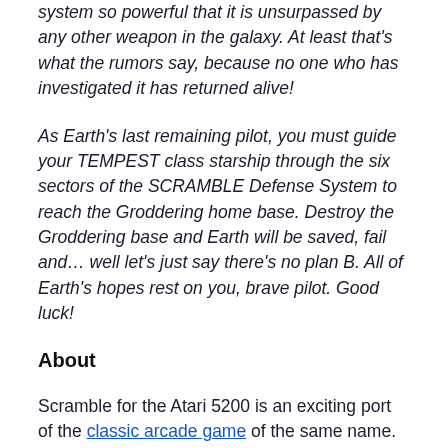system so powerful that it is unsurpassed by any other weapon in the galaxy. At least that's what the rumors say, because no one who has investigated it has returned alive!
As Earth's last remaining pilot, you must guide your TEMPEST class starship through the six sectors of the SCRAMBLE Defense System to reach the Groddering home base. Destroy the Groddering base and Earth will be saved, fail and… well let's just say there's no plan B. All of Earth's hopes rest on you, brave pilot. Good luck!
About
Scramble for the Atari 5200 is an exciting port of the classic arcade game of the same name.  In Scramble you must guide your ship through six sectors to reach and destroy the enemy base!  Use your missiles and bombs to